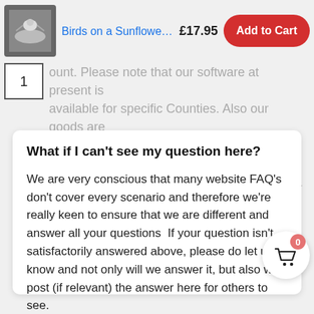[Figure (screenshot): Product thumbnail image showing a Birds on a Sunflower Bird Bath]
Birds on a Sunflower Bi...  £17.95
Add to Cart
1
ount.  Please note that our software at present is available for specific Counties.  Also our goods are primarily selected for the UK we have to deal with overseas shipments on a case by case basis.  For more information please contact our sales team.
What if I can't see my question here?
We are very conscious that many website FAQ's don't cover every scenario and therefore we're really keen to ensure that we are different and answer all your questions  If your question isn't satisfactorily answered above, please do let us know and not only will we answer it, but also we'll post (if relevant) the answer here for others to see.